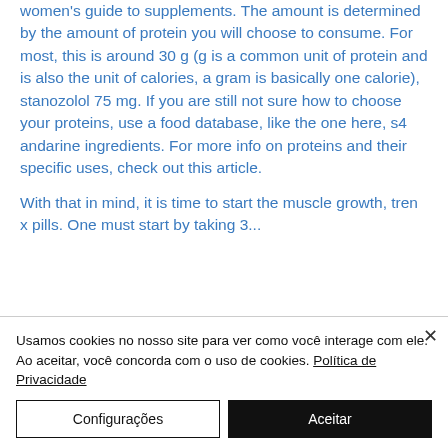women's guide to supplements. The amount is determined by the amount of protein you will choose to consume. For most, this is around 30 g (g is a common unit of protein and is also the unit of calories, a gram is basically one calorie), stanozolol 75 mg. If you are still not sure how to choose your proteins, use a food database, like the one here, s4 andarine ingredients. For more info on proteins and their specific uses, check out this article.
With that in mind, it is time to start the muscle growth, tren x pills. One must start by taking 3...
Usamos cookies no nosso site para ver como você interage com ele. Ao aceitar, você concorda com o uso de cookies. Política de Privacidade